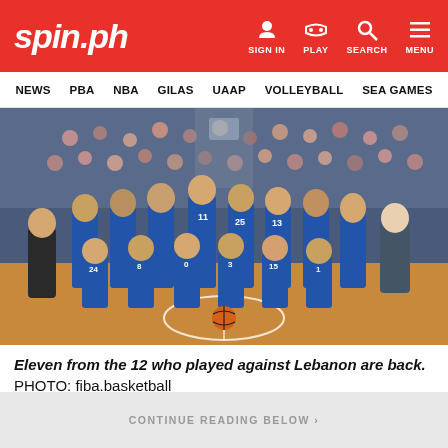spin.ph — SIGN IN  PLAY  SEARCH  MENU
NEWS  PBA  NBA  GILAS  UAAP  VOLLEYBALL  SEA GAMES
[Figure (photo): Team photo of the Philippine Gilas Pilipinas basketball team in blue uniforms with jersey numbers including 24, 8, 0, 3, 15, 1, 25, 11, 23, 13, posing on a basketball court in front of a crowd]
Eleven from the 12 who played against Lebanon are back. PHOTO: fiba.basketball
CONTINUE READING BELOW